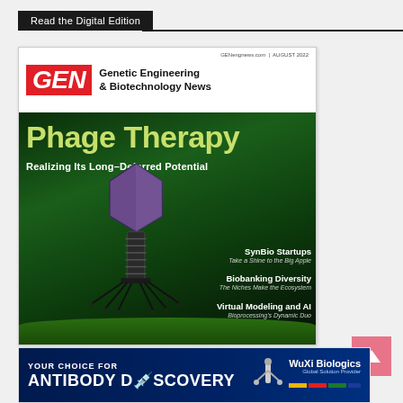Read the Digital Edition
[Figure (photo): Magazine cover of GEN (Genetic Engineering & Biotechnology News), August 2022. Features a 3D rendered bacteriophage (virus) on a green background. Cover story: 'Phage Therapy – Realizing Its Long-Deferred Potential'. Also features: SynBio Startups – Take a Shine to the Big Apple; Biobanking Diversity – The Niches Make the Ecosystem; Virtual Modeling and AI – Bioprocessing's Dynamic Duo.]
[Figure (photo): Advertisement banner: 'YOUR CHOICE FOR ANTIBODY DISCOVERY' by WuXi Biologics, Global Solution Provider. Shows antibody illustration and vial.]